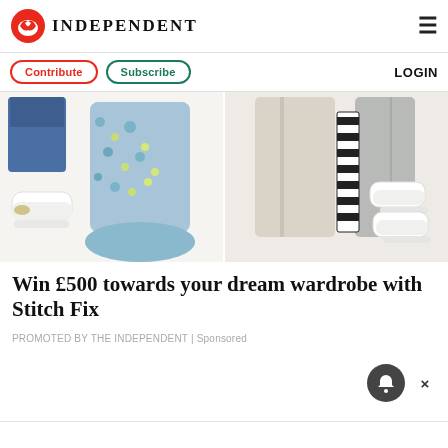INDEPENDENT
Contribute | Subscribe | LOGIN
[Figure (photo): Two flat-lay fashion outfit collages side by side: left shows a blue floral midi skirt with white sneakers and blue denim jacket on white background; right shows beige/cream trousers with white sneakers and grey blazer on white background with a black-and-white striped accessory.]
Win £500 towards your dream wardrobe with Stitch Fix
PROMOTED BY THE INDEPENDENT | Sponsored